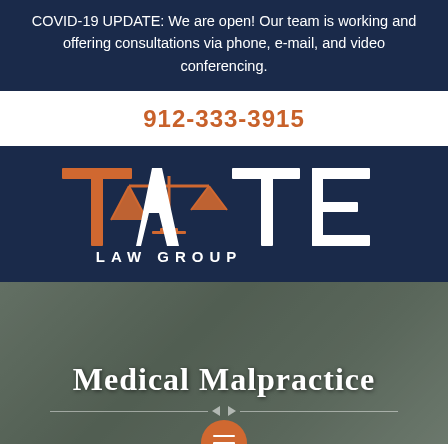COVID-19 UPDATE: We are open! Our team is working and offering consultations via phone, e-mail, and video conferencing.
912-333-3915
[Figure (logo): Tate Law Group logo — large stylized letters T, A, T, E with balance scales icon in orange replacing the A, on dark navy background. Text 'LAW GROUP' below in white.]
Medical Malpractice